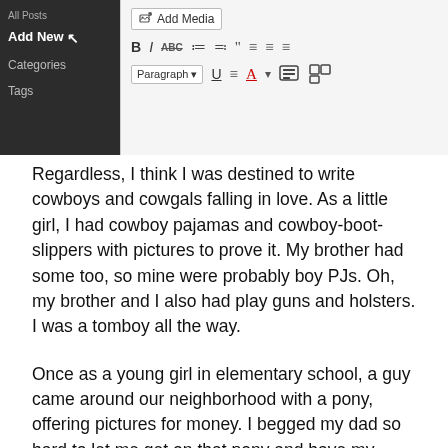[Figure (screenshot): Screenshot of a WordPress post editor toolbar showing Add Media button, formatting buttons (Bold, Italic, strikethrough, list icons, blockquote, alignment icons), and a second row with Underline, alignment, text color, and other controls. Left side shows dark admin sidebar with 'Add New' and 'Categories' menu items.]
Regardless, I think I was destined to write cowboys and cowgals falling in love. As a little girl, I had cowboy pajamas and cowboy-boot-slippers with pictures to prove it. My brother had some too, so mine were probably boy PJs. Oh, my brother and I also had play guns and holsters. I was a tomboy all the way.
Once as a young girl in elementary school, a guy came around our neighborhood with a pony, offering pictures for money. I begged my dad so hard to let me get on that pony and have my picture taken. Of course, my little brother had to get in his two cents and get his own picture